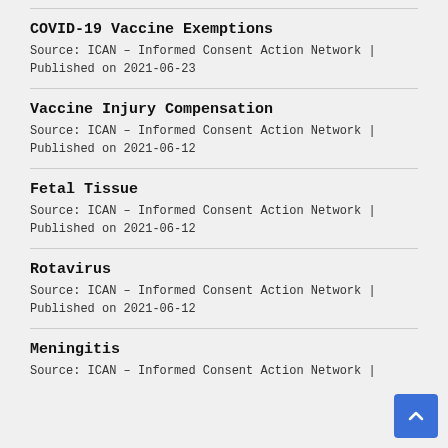COVID-19 Vaccine Exemptions
Source: ICAN – Informed Consent Action Network | Published on 2021-06-23
Vaccine Injury Compensation
Source: ICAN – Informed Consent Action Network | Published on 2021-06-12
Fetal Tissue
Source: ICAN – Informed Consent Action Network | Published on 2021-06-12
Rotavirus
Source: ICAN – Informed Consent Action Network | Published on 2021-06-12
Meningitis
Source: ICAN – Informed Consent Action Network |